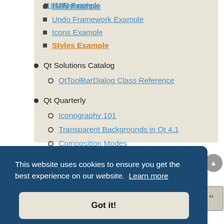I18N Example
Undo Framework Example
Icons Example
Styles Example
Qt Solutions Catalog
QtToolBarDialog Class Reference
Qt Quarterly
Iconography 101
Transparent Backgrounds in Qt 4.1
Composition Modes
Trolltech Labs Blogs
Theming Qt for fun and profit
This website uses cookies to ensure you get the best experience on our website. Learn more
Got it!
An other example of dark theme to copy/paste into the setting theme area